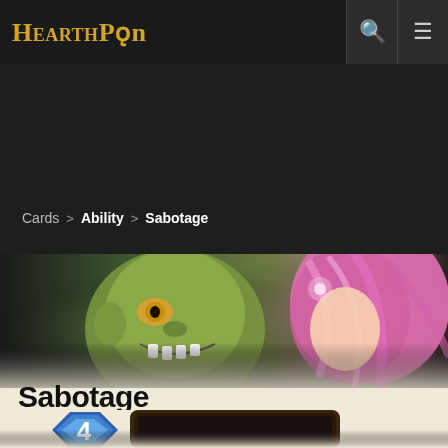HearthPwn
Cards > Ability > Sabotage
[Figure (illustration): Banner image showing two Hearthstone card characters: a green goblin-like creature grinning on the left, and a pink-haired female character on the right, on a dark background]
Sabotage
[Figure (illustration): Partial view of a Hearthstone card showing a blue mana crystal with the number 4, and a dark card frame with a partially visible character illustration]